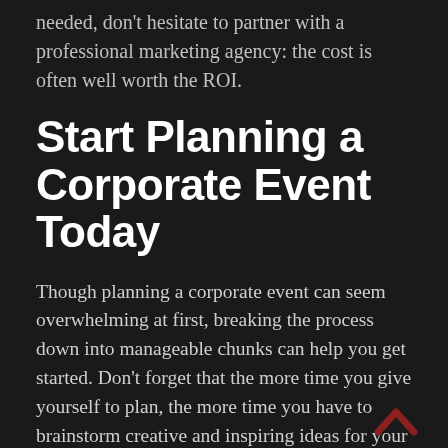needed, don't hesitate to partner with a professional marketing agency: the cost is often well worth the ROI.
Start Planning a Corporate Event Today
Though planning a corporate event can seem overwhelming at first, breaking the process down into manageable chunks can help you get started. Don't forget that the more time you give yourself to plan, the more time you have to brainstorm creative and inspiring ideas for your event!
Looking for more helpful guides for business and